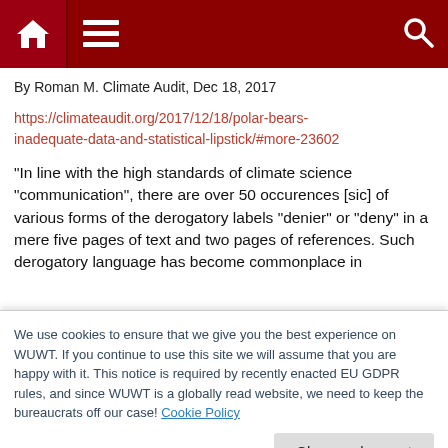Navigation bar with home, menu, and search icons
By Roman M. Climate Audit, Dec 18, 2017
https://climateaudit.org/2017/12/18/polar-bears-inadequate-data-and-statistical-lipstick/#more-23602
“In line with the high standards of climate science “communication”, there are over 50 occurences [sic] of various forms of the derogatory labels “denier” or “deny” in a mere five pages of text and two pages of references. Such derogatory language has become commonplace in
We use cookies to ensure that we give you the best experience on WUWT. If you continue to use this site we will assume that you are happy with it. This notice is required by recently enacted EU GDPR rules, and since WUWT is a globally read website, we need to keep the bureaucrats off our case! Cookie Policy
Close and accept
Defending the Orthodoxy